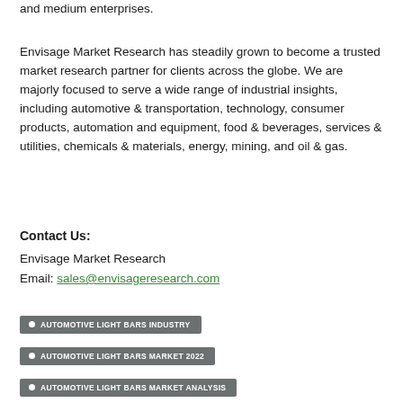and medium enterprises.
Envisage Market Research has steadily grown to become a trusted market research partner for clients across the globe. We are majorly focused to serve a wide range of industrial insights, including automotive & transportation, technology, consumer products, automation and equipment, food & beverages, services & utilities, chemicals & materials, energy, mining, and oil & gas.
Contact Us:
Envisage Market Research
Email: sales@envisageresearch.com
AUTOMOTIVE LIGHT BARS INDUSTRY
AUTOMOTIVE LIGHT BARS MARKET 2022
AUTOMOTIVE LIGHT BARS MARKET ANALYSIS
AUTOMOTIVE LIGHT BARS MARKET CHALLENGES